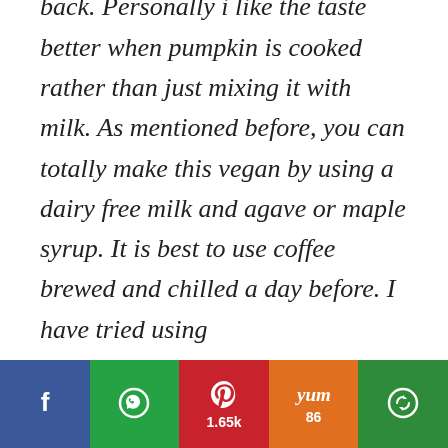I came across this fantastic recipe by Sally for the frappa some time back. Personally i like the taste better when pumpkin is cooked rather than just mixing it with milk. As mentioned before, you can totally make this vegan by using a dairy free milk and agave or maple syrup. It is best to use coffee brewed and chilled a day before. I have tried using
[Figure (other): Social sharing bar with Facebook (blue), WhatsApp (green), Pinterest (red, 1.65k), Yummly (orange, 86), and a share/recirculate button (green)]